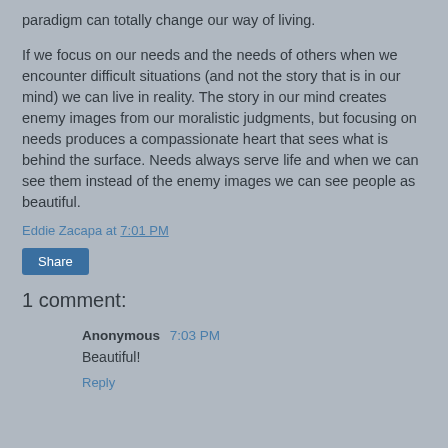paradigm can totally change our way of living.
If we focus on our needs and the needs of others when we encounter difficult situations (and not the story that is in our mind) we can live in reality. The story in our mind creates enemy images from our moralistic judgments, but focusing on needs produces a compassionate heart that sees what is behind the surface. Needs always serve life and when we can see them instead of the enemy images we can see people as beautiful.
Eddie Zacapa at 7:01 PM
Share
1 comment:
Anonymous 7:03 PM
Beautiful!
Reply